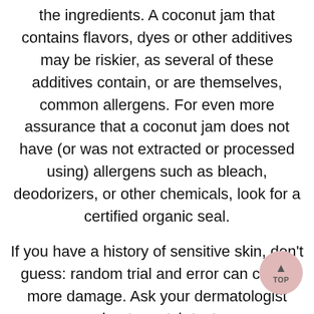the ingredients. A coconut jam that contains flavors, dyes or other additives may be riskier, as several of these additives contain, or are themselves, common allergens. For even more assurance that a coconut jam does not have (or was not extracted or processed using) allergens such as bleach, deodorizers, or other chemicals, look for a certified organic seal.
If you have a history of sensitive skin, don't guess: random trial and error can cause more damage. Ask your dermatologist about a patch test.
To shop our selection of validated hypoallergenic products, visit www.hypoallergenic.com. Need help? Leave a